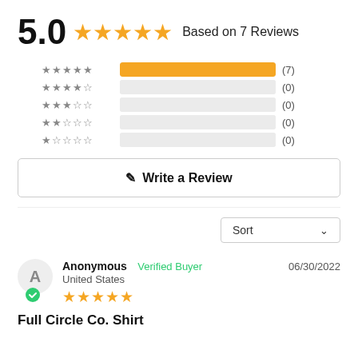5.0 ★★★★★ Based on 7 Reviews
[Figure (bar-chart): Rating breakdown]
Write a Review
Sort
Anonymous  Verified Buyer  06/30/2022  United States
Full Circle Co. Shirt